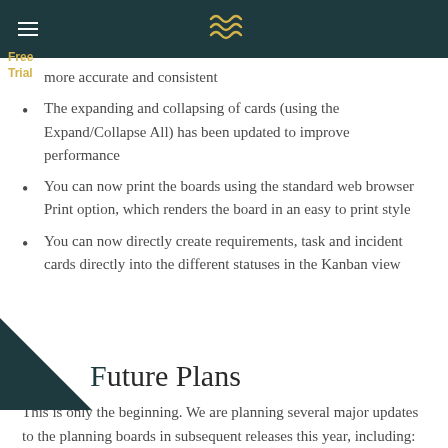Free Trial [logo]
more accurate and consistent
The expanding and collapsing of cards (using the Expand/Collapse All) has been updated to improve performance
You can now print the boards using the standard web browser Print option, which renders the board in an easy to print style
You can now directly create requirements, task and incident cards directly into the different statuses in the Kanban view
Future Plans
This is only the beginning. We are planning several major updates to the planning boards in subsequent releases this year, including: